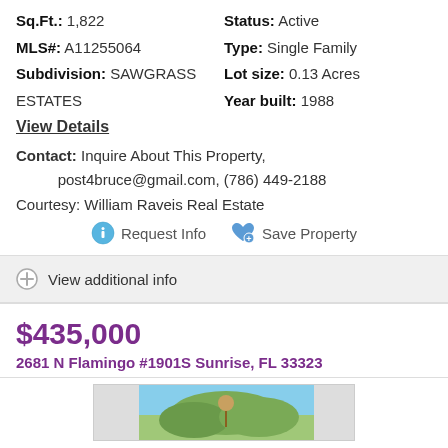Sq.Ft.: 1,822
Status: Active
MLS#: A11255064
Type: Single Family
Subdivision: SAWGRASS ESTATES
Lot size: 0.13 Acres
Year built: 1988
View Details
Contact: Inquire About This Property, post4bruce@gmail.com, (786) 449-2188
Courtesy: William Raveis Real Estate
Request Info   Save Property
View additional info
$435,000
2681 N Flamingo #1901S Sunrise, FL 33323
[Figure (photo): Partial view of a property photo showing sky and foliage]